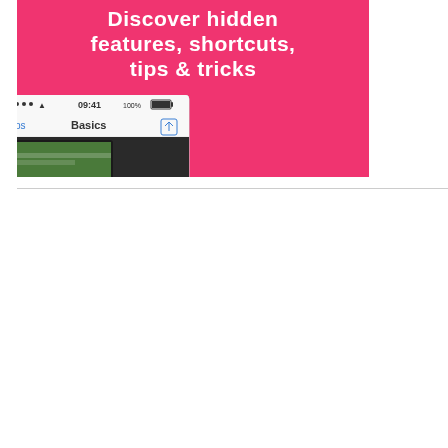[Figure (screenshot): Pink promotional banner showing 'Discover hidden features, shortcuts, tips & tricks' text with an iPhone screenshot showing the Tips app 'Basics' screen, status bar showing 09:41 and 100% battery]